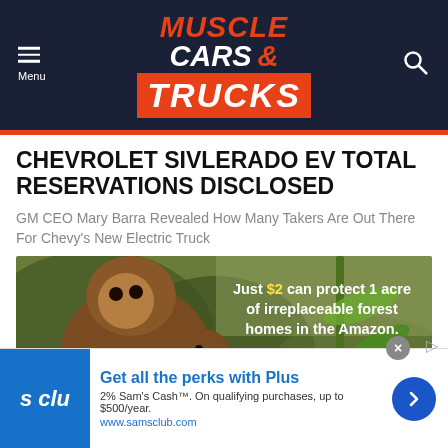Muscle Cars & Trucks
CHEVROLET SIVLERADO EV TOTAL RESERVATIONS DISCLOSED
GM CEO Mary Barra Revealed How Many Takers Are Out There For Chevy's New Electric Truck
[Figure (photo): Advertisement photo showing monkeys in Amazon forest with text: Just $2 can protect 1 acre of irreplaceable forest homes in the Amazon.]
[Figure (infographic): Sam's Club advertisement banner: Get all the perks with Plus. 2% Sam's Cash™. On qualifying purchases, up to $500/year. www.samsclub.com]